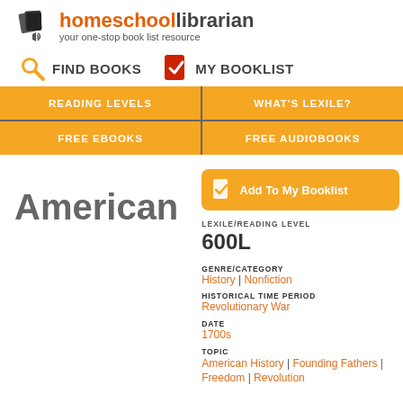[Figure (logo): Homeschool Librarian logo with book and speaker icon, orange and dark gray text, tagline: your one-stop book list resource]
[Figure (infographic): Navigation bar with orange magnifying glass icon FIND BOOKS and red book with checkmark icon MY BOOKLIST]
[Figure (infographic): Orange menu bar with four cells: READING LEVELS, WHAT'S LEXILE?, FREE EBOOKS, FREE AUDIOBOOKS]
American
[Figure (infographic): Orange button: Add To My Booklist with book-checkmark icon]
LEXILE/READING LEVEL
600L
GENRE/CATEGORY
History | Nonfiction
HISTORICAL TIME PERIOD
Revolutionary War
DATE
1700s
TOPIC
American History | Founding Fathers | Freedom | Revolution